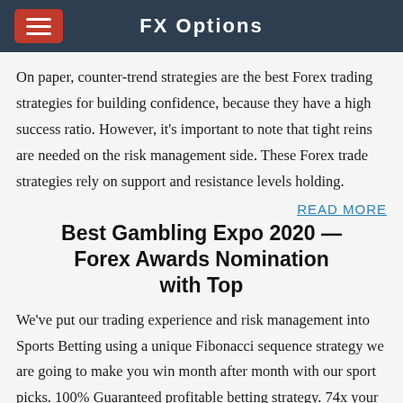FX Options
On paper, counter-trend strategies are the best Forex trading strategies for building confidence, because they have a high success ratio. However, it's important to note that tight reins are needed on the risk management side. These Forex trade strategies rely on support and resistance levels holding.
READ MORE
Best Gambling Expo 2020 — Forex Awards Nomination with Top
We've put our trading experience and risk management into Sports Betting using a unique Fibonacci sequence strategy we are going to make you win month after month with our sport picks. 100% Guaranteed profitable betting strategy. 74x your initial bet in 1 month! Work with any bookmaker Daily picks via Telegram VIP 3 Odds fixed […]